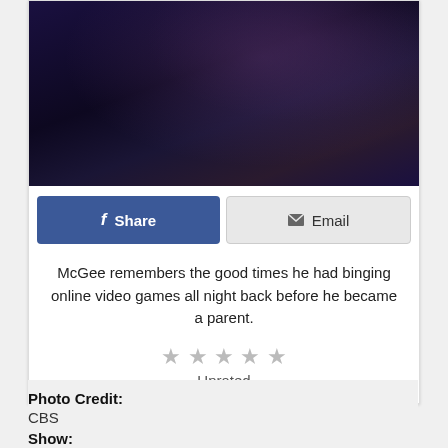[Figure (photo): Dark moody photo with purple/blue tones, appears to show a person in low lighting]
f Share
✉ Email
McGee remembers the good times he had binging online video games all night back before he became a parent.
Unrated
Photo Credit:
CBS
Show: